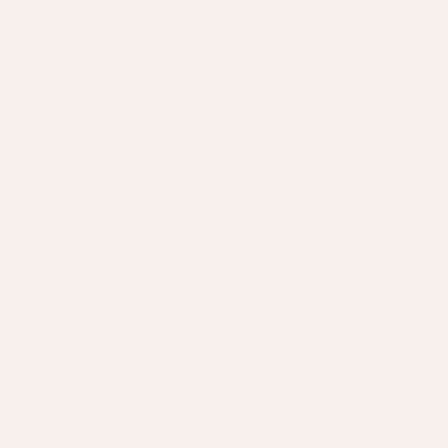http://www.supremeclothing.us.com
http://www.oakleysunglasses-va...
http://www.cheapmichaelkorshan...
http://www.moncler--paris.fr
http://www.wwwuggsoutlet.us.com...
http://www.adidasfootballboots.or...
http://www.coachcom.us.com
http://www.ferragamoshoesoutlet...
http://www.outletuggstore.us.org
http://www.oakleysunglassescana...
http://www.north--face.us.com
http://www.michael-korsoutletonli...
http://www.manoloblahnik.us
http://www.adidasoutletstores.com...
http://www.coachhandbagsfactory...
http://www.poloralph--lauren.us.c...
http://www.louboutinoutlets.us.co...
http://www.monclerdunjacka.se
http://www.pandora-jewelry.name...
http://www.niketn.fr
http://www.nike-airhuarache.me.u...
http://www.longchamp-handbags....
http://www.cheaprolexwatches.us...
http://www.cheapnfljerseysstore....
http://www.uggaustraliaboots.me-...
http://www.northfacethe.us.com
http://www.pradabags.in.net
http://www.hollisterclothing.us.org...